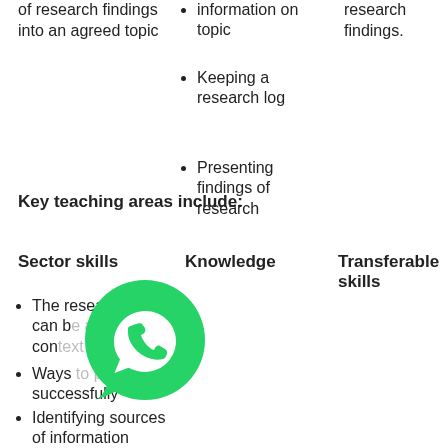of research findings into an agreed topic
information on topic
Keeping a research log
Presenting findings of research
research findings.
Key teaching areas include:
Sector skills
Knowledge
Transferable skills
The research topic can b...stor con...
Ways...p... successfully
Identifying sources of information
How to research